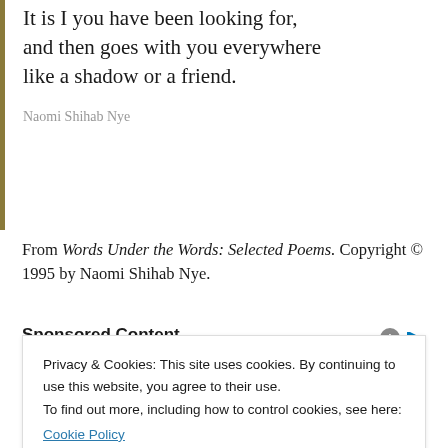It is I you have been looking for, and then goes with you everywhere like a shadow or a friend.
Naomi Shihab Nye
From Words Under the Words: Selected Poems. Copyright © 1995 by Naomi Shihab Nye.
Sponsored Content
Privacy & Cookies: This site uses cookies. By continuing to use this website, you agree to their use.
To find out more, including how to control cookies, see here: Cookie Policy
Close and accept